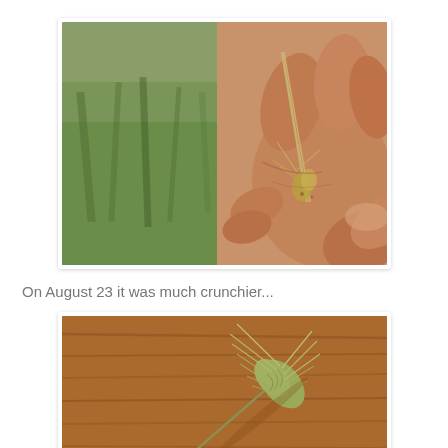[Figure (photo): Hands holding and examining a grain/wheat seed head outdoors, with green grass/grain plants in the background.]
On August 23 it was much crunchier...
[Figure (photo): A single wheat/barley seed head with awns lying on a wooden surface, viewed from above.]